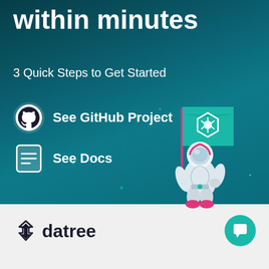within minutes
3 Quick Steps to Get Started
See GitHub Project
See Docs
[Figure (illustration): Astronaut holding a teal flag with Kubernetes logo, standing on dark teal background]
[Figure (logo): Datree logo with angular arrow icon and wordmark 'datree' in dark text]
[Figure (illustration): Teal circular chat bubble button in bottom right corner]